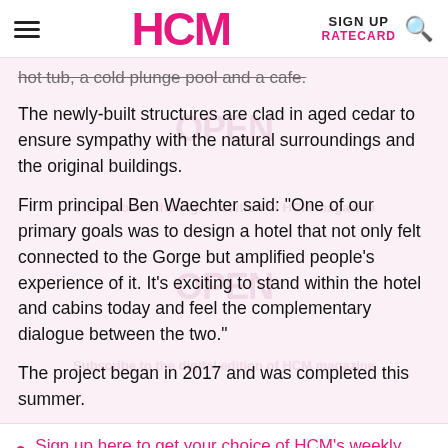HCM | SIGN UP | RATECARD
hot tub, a cold plunge pool and a cafe.
The newly-built structures are clad in aged cedar to ensure sympathy with the natural surroundings and the original buildings.
Firm principal Ben Waechter said: "One of our primary goals was to design a hotel that not only felt connected to the Gorge but amplified people's experience of it. It's exciting to stand within the hotel and cabins today and feel the complementary dialogue between the two."
The project began in 2017 and was completed this summer.
Sign up here to get your choice of HCM's weekly ezine, breaking news alerts and every issue of HCM magazine